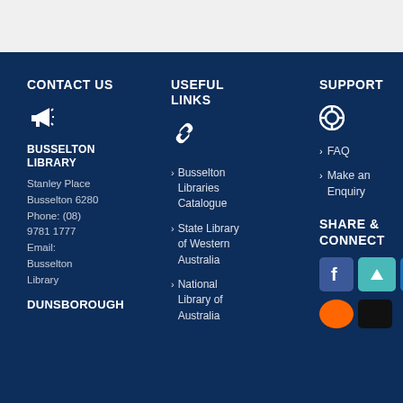CONTACT US
BUSSELTON LIBRARY
Stanley Place Busselton 6280
Phone: (08) 9781 1777
Email: Busselton Library
DUNSBOROUGH
USEFUL LINKS
Busselton Libraries Catalogue
State Library of Western Australia
National Library of Australia
SUPPORT
FAQ
Make an Enquiry
SHARE & CONNECT
[Figure (infographic): Social media icons: Facebook, teal scroll-up arrow, Flickr, orange circle, black rectangle]